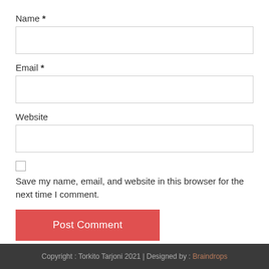Name *
Email *
Website
Save my name, email, and website in this browser for the next time I comment.
Post Comment
Copyright : Torkito Tarjoni 2021 | Designed by : Braindrops